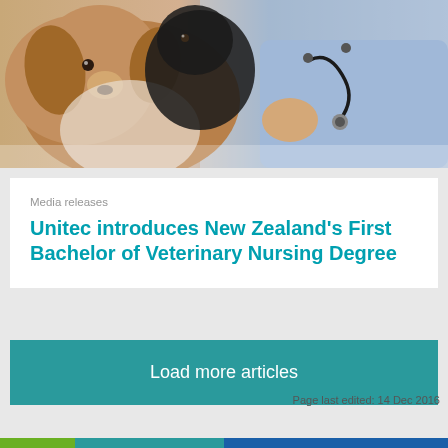[Figure (photo): A veterinary nurse or vet wearing blue scrubs and using a stethoscope to examine a brown and white dog, with a black dog visible in the background.]
Media releases
Unitec introduces New Zealand's First Bachelor of Veterinary Nursing Degree
Load more articles
Page last edited: 14 Dec 2016